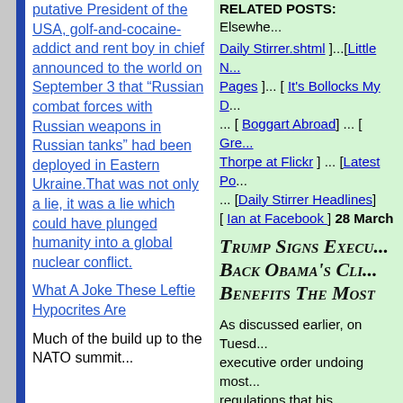putative President of the USA, golf-and-cocaine-addict and rent boy in chief announced to the world on September 3 that “Russian combat forces with Russian weapons in Russian tanks” had been deployed in Eastern Ukraine.That was not only a lie, it was a lie which could have plunged humanity into a global nuclear conflict.
What A Joke These Leftie Hypocrites Are
Much of the build up to the NATO summit...
RELATED POSTS: Elsewhere... Daily Stirrer.shtml ]...[Little N... Pages ]... [ It’s Bollocks My D... ... [ Boggart Abroad] ... [ Gre... Thorpe at Flickr ] ... [Latest Po... ... [Daily Stirrer Headlines] [ Ian at Facebook ] 28 March
Trump Signs Execu... Back Obama’s Cli... Benefits The Most
As discussed earlier, on Tuesd... executive order undoing most... regulations that his administra... miners, a move environmental... decree's main target is former... Plan that required states to sla... a critical element in helping th...